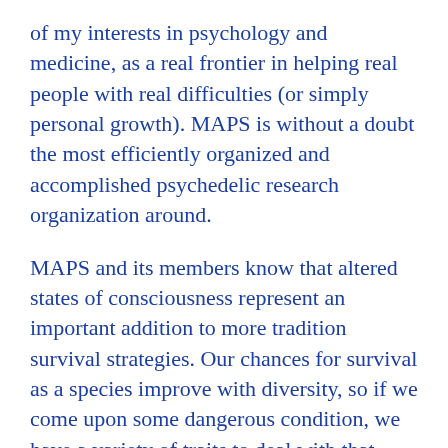of my interests in psychology and medicine, as a real frontier in helping real people with real difficulties (or simply personal growth). MAPS is without a doubt the most efficiently organized and accomplished psychedelic research organization around.
MAPS and its members know that altered states of consciousness represent an important addition to more tradition survival strategies. Our chances for survival as a species improve with diversity, so if we come upon some dangerous condition, we have a variety of traits to deal with that danger just in case the more popular strategies aren't effective. Seeing the world from an alternate perspective has the potential to save us from our own misguided “common sense” about the way the world works—assumptions so